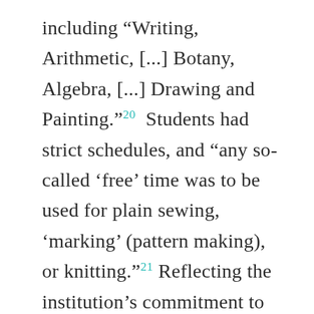including “Writing, Arithmetic, [...] Botany, Algebra, [...] Drawing and Painting.”20 Students had strict schedules, and “any so-called ‘free’ time was to be used for plain sewing, ‘marking’ (pattern making), or knitting.”21 Reflecting the institution’s commitment to reinforcing traditional gender roles, Salem did not accept girls who were over fifteen years old at time